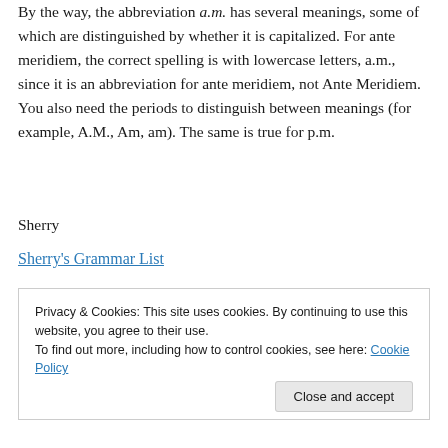night. It didn't exist until the heat of noon in the morning. By the way, the abbreviation a.m. has several meanings, some of which are distinguished by whether it is capitalized. For ante meridiem, the correct spelling is with lowercase letters, a.m., since it is an abbreviation for ante meridiem, not Ante Meridiem. You also need the periods to distinguish between meanings (for example, A.M., Am, am). The same is true for p.m.
Sherry
Sherry's Grammar List
Privacy & Cookies: This site uses cookies. By continuing to use this website, you agree to their use. To find out more, including how to control cookies, see here: Cookie Policy